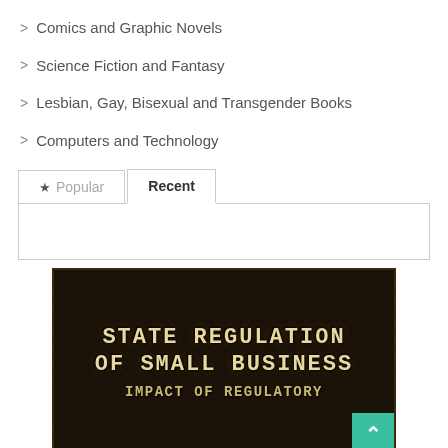> Comics and Graphic Novels
> Science Fiction and Fantasy
> Lesbian, Gay, Bisexual and Transgender Books
> Computers and Technology
Popular | Recent (tabs)
[Figure (photo): Book cover image showing 'State Regulation of Small Business - Impact of Regulatory' in large serif-style monospaced text on a dark background]